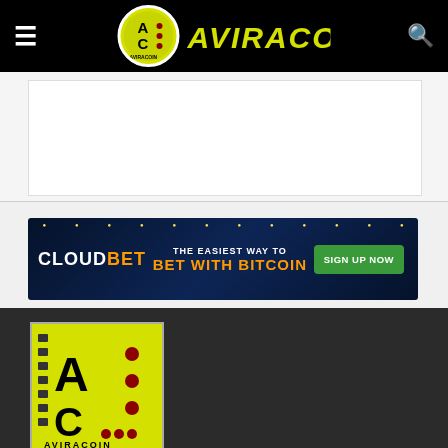AviraCoin — navigation bar with logo
[Figure (logo): CloudBet advertisement banner: THE EASIEST WAY TO BET WITH BITCOIN - SIGN UP NOW]
[Figure (logo): AviraCoin square logo on yellow background]
AviraCoin es una comunidad Educativa sobre Criptomonedas ....Nuestro lema es "Construyendo la Nueva economía del futuro" un espacio Filosófico-Educativo-Ético; dedicado al buen uso de las Criptomonedas y Finanzas.